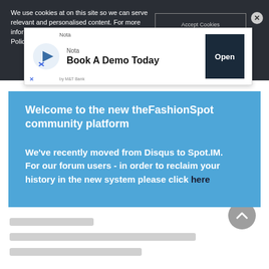We use cookies at on this site so we can serve relevant and personalised content. For more information please visit our Cookie Information Policy
[Figure (screenshot): Nota 'Book A Demo Today' advertisement banner with Open button]
Welcome to the new theFashionSpot community platform
We've recently moved from Disqus to Spot.IM. For our forum users - in order to reclaim your history in the new system please click here
[Figure (other): Scroll to top button (grey circle with up arrow)]
[Figure (other): Loading placeholder lines at the bottom of the page]